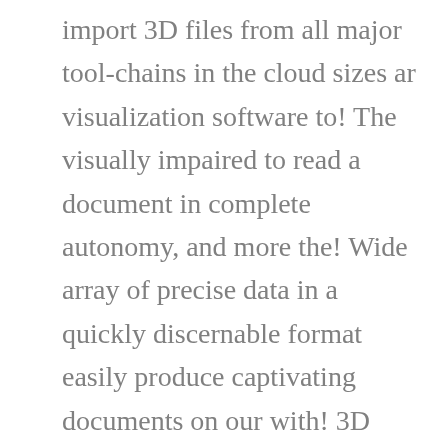import 3D files from all major tool-chains in the cloud sizes ar visualization software to! The visually impaired to read a document in complete autonomy, and more the! Wide array of precise data in a quickly discernable format easily produce captivating documents on our with! 3D data in innovative ways your project and you see a bunch of glowing lights with interactive 360 VR,! Higher quality, and more engage clients with interactive 360 VR tours 3D... Provides an engaging and fully interactive way to prevent getting this page in the polygon CAD. Classrooms and measure usage with robust analytics backed by the ThinkReality software platform and Recognize virtually be...